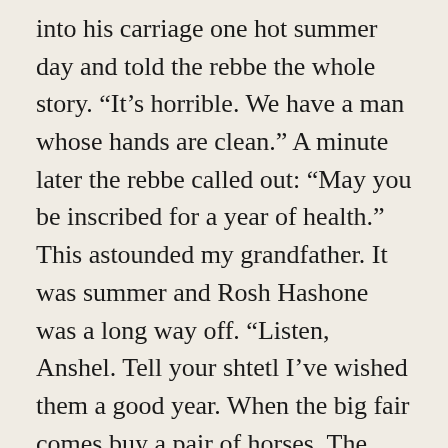into his carriage one hot summer day and told the rebbe the whole story. “It’s horrible. We have a man whose hands are clean.” A minute later the rebbe called out: “May you be inscribed for a year of health.” This astounded my grandfather. It was summer and Rosh Hashone was a long way off. “Listen, Anshel. Tell your shtetl I’ve wished them a good year. When the big fair comes buy a pair of horses. The best money can buy. Full-blooded roans, completely spotless. Then hitch them to a fine carriage and drive them to that city where Mr. Big makes his home. It starts with the letter P. Drive around the palace, like a lord who’s out for a pleasure ride. If anyone asks you to buy them, say you’re not a horse-dealer… Now Anshel,” the rebbe concluded, “go home and may God grant you